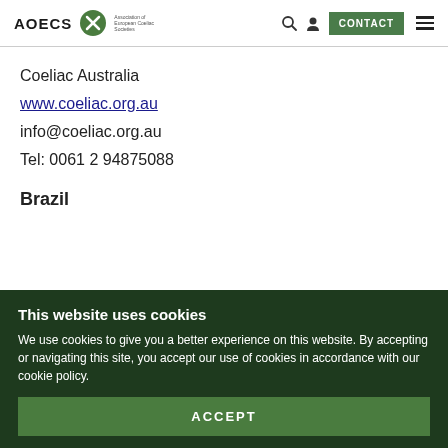AOECS | CONTACT
Coeliac Australia
www.coeliac.org.au
info@coeliac.org.au
Tel: 0061 2 94875088
Brazil
This website uses cookies
We use cookies to give you a better experience on this website. By accepting or navigating this site, you accept our use of cookies in accordance with our cookie policy.
ACCEPT